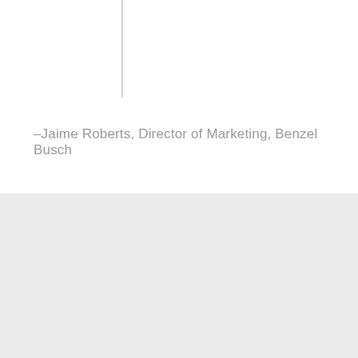–Jaime Roberts, Director of Marketing, Benzel Busch
Contact MarketSmiths!
Reach out to learn more and get captivating copywriting.
First Name